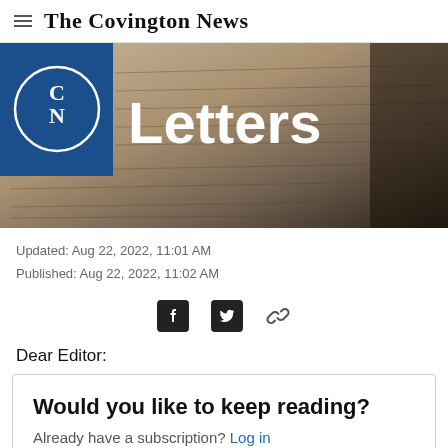The Covington News
[Figure (photo): Hero image of handwritten letters with blue logo box (CN logo) and 'Letters' title text overlaid on background of old handwritten pages]
Updated: Aug 22, 2022, 11:01 AM
Published: Aug 22, 2022, 11:02 AM
[Figure (other): Social sharing icons: Facebook, Twitter, and link/chain icon]
Dear Editor:
Would you like to keep reading?
Already have a subscription? Log in